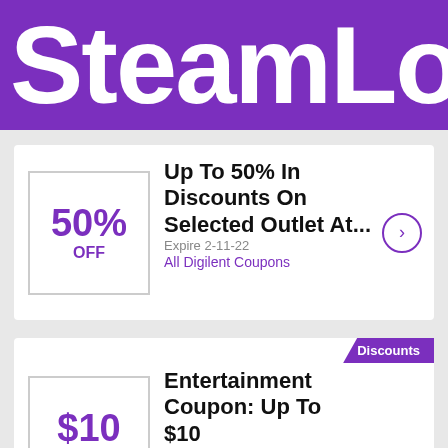SteamLo
50% OFF – Up To 50% In Discounts On Selected Outlet At... Expire 2-11-22 All Digilent Coupons
$10 OFF – Entertainment Coupon: Up To $10 Saving On... Expire 1-11-22 All Entertainment Coupons